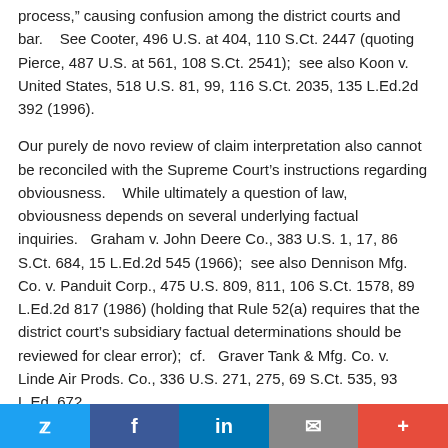process,” causing confusion among the district courts and bar.    See Cooter, 496 U.S. at 404, 110 S.Ct. 2447 (quoting Pierce, 487 U.S. at 561, 108 S.Ct. 2541);  see also Koon v. United States, 518 U.S. 81, 99, 116 S.Ct. 2035, 135 L.Ed.2d 392 (1996).
Our purely de novo review of claim interpretation also cannot be reconciled with the Supreme Court’s instructions regarding obviousness.    While ultimately a question of law, obviousness depends on several underlying factual inquiries.   Graham v. John Deere Co., 383 U.S. 1, 17, 86 S.Ct. 684, 15 L.Ed.2d 545 (1966);  see also Dennison Mfg. Co. v. Panduit Corp., 475 U.S. 809, 811, 106 S.Ct. 1578, 89 L.Ed.2d 817 (1986) (holding that Rule 52(a) requires that the district court’s subsidiary factual determinations should be reviewed for clear error);  cf.   Graver Tank & Mfg. Co. v. Linde Air Prods. Co., 336 U.S. 271, 275, 69 S.Ct. 535, 93 L.Ed. 672